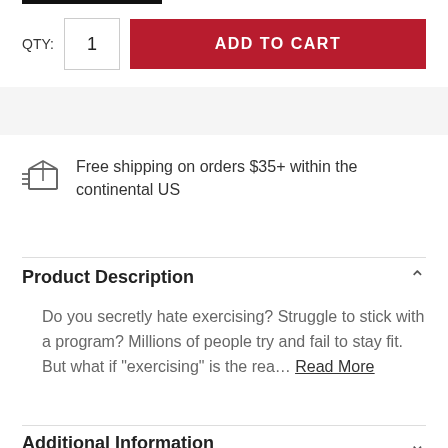QTY: 1  ADD TO CART
Free shipping on orders $35+ within the continental US
Product Description
Do you secretly hate exercising? Struggle to stick with a program? Millions of people try and fail to stay fit. But what if "exercising" is the rea... Read More
Additional Information